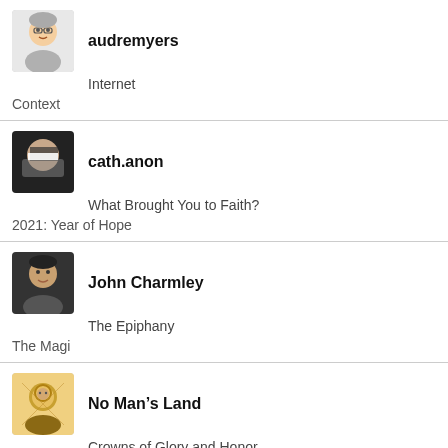audremyers
Internet
Context
cath.anon
What Brought You to Faith?
2021: Year of Hope
John Charmley
The Epiphany
The Magi
No Man's Land
Crowns of Glory and Honor
Monkeys and Mud: Evolution, Origins, and Ancestors (Part II)
Geoffrey RS Sales
Material world
Christianity and religion
JessicaHoff